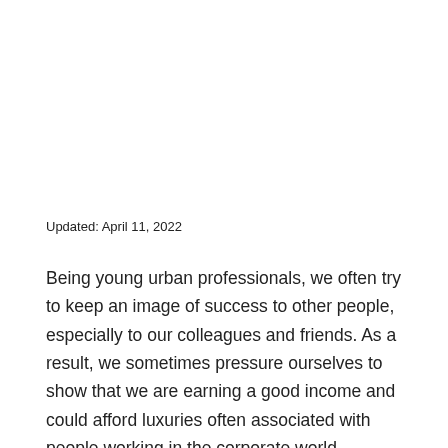Updated: April 11, 2022
Being young urban professionals, we often try to keep an image of success to other people, especially to our colleagues and friends. As a result, we sometimes pressure ourselves to show that we are earning a good income and could afford luxuries often associated with people working in the corporate world.